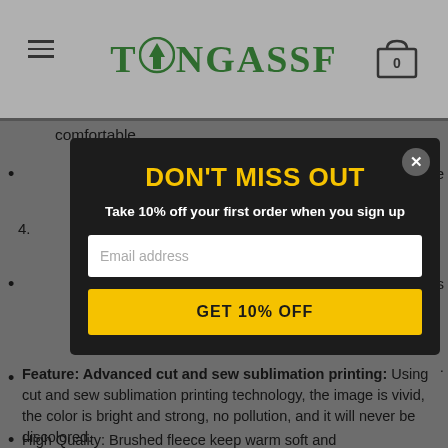TONGASSF (navigation header with hamburger menu and cart icon showing 0)
comfortable.
ne
4.
es
.
Feature: Advanced cut and sew sublimation printing: Using cut and sew sublimation printing technology, the image is vivid, the color is bright and strong, no pollution, and it will never be discolored.
High Quality: Brushed fleece keep warm soft and
DON'T MISS OUT
Take 10% off your first order when you sign up
Email address
GET 10% OFF